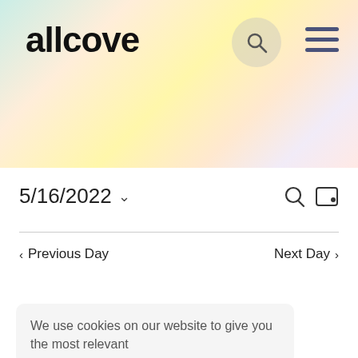[Figure (screenshot): Gradient header background with teal, yellow, pink, and lavender colors]
allcove
5/16/2022
Previous Day
Next Day
We use cookies on our website to give you the most relevant